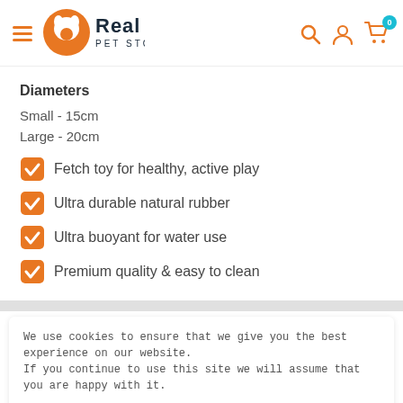Real Pet Store header with hamburger menu, logo, search, account, and cart icons
Diameters
Small - 15cm
Large - 20cm
Fetch toy for healthy, active play
Ultra durable natural rubber
Ultra buoyant for water use
Premium quality & easy to clean
We use cookies to ensure that we give you the best experience on our website.
If you continue to use this site we will assume that you are happy with it.